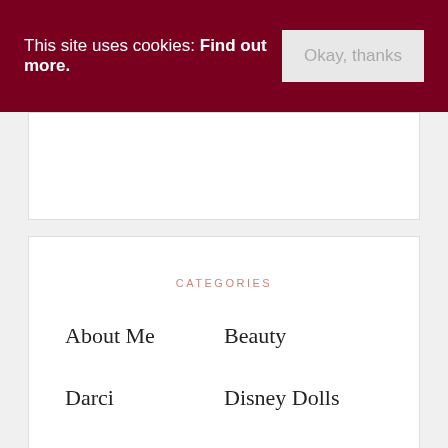This site uses cookies: Find out more. Okay, thanks
CATEGORIES
About Me
Beauty
Darci
Disney Dolls
Doll books
Doll Fashions
MORE
BLOGROLL
AndyMy Designs